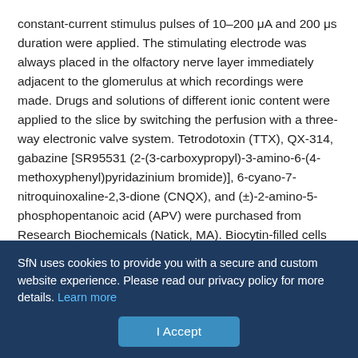constant-current stimulus pulses of 10–200 μA and 200 μs duration were applied. The stimulating electrode was always placed in the olfactory nerve layer immediately adjacent to the glomerulus at which recordings were made. Drugs and solutions of different ionic content were applied to the slice by switching the perfusion with a three-way electronic valve system. Tetrodotoxin (TTX), QX-314, gabazine [SR95531 (2-(3-carboxypropyl)-3-amino-6-(4-methoxyphenyl)pyridazinium bromide)], 6-cyano-7-nitroquinoxaline-2,3-dione (CNQX), and (±)-2-amino-5-phosphopentanoic acid (APV) were purchased from Research Biochemicals (Natick, MA). Biocytin-filled cells were developed as described previously (Karnup and Stelzer, 1999). Briefly, fixed slices were embedded in 10% gelatin and sectioned at 80 μm thickness using a vibratome. The sections
SfN uses cookies to provide you with a secure and custom website experience. Please read our privacy policy for more details. Learn more